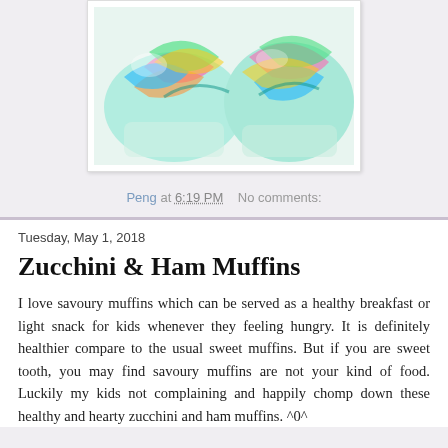[Figure (photo): Colorful rainbow-swirled muffins with teal, pink, yellow, and blue colors, displayed on a white background inside a white bordered box.]
Peng at 6:19 PM    No comments:
Tuesday, May 1, 2018
Zucchini & Ham Muffins
I love savoury muffins which can be served as a healthy breakfast or light snack for kids whenever they feeling hungry. It is definitely healthier compare to the usual sweet muffins. But if you are sweet tooth, you may find savoury muffins are not your kind of food. Luckily my kids not complaining and happily chomp down these healthy and hearty zucchini and ham muffins. ^0^